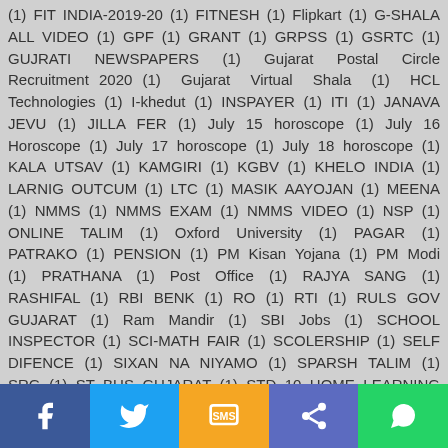(1) FIT INDIA-2019-20 (1) FITNESH (1) Flipkart (1) G-SHALA ALL VIDEO (1) GPF (1) GRANT (1) GRPSS (1) GSRTC (1) GUJRATI NEWSPAPERS (1) Gujarat Postal Circle Recruitment 2020 (1) Gujarat Virtual Shala (1) HCL Technologies (1) I-khedut (1) INSPAYER (1) ITI (1) JANAVA JEVU (1) JILLA FER (1) July 15 horoscope (1) July 16 Horoscope (1) July 17 horoscope (1) July 18 horoscope (1) KALA UTSAV (1) KAMGIRI (1) KGBV (1) KHELO INDIA (1) LARNIG OUTCUM (1) LTC (1) MASIK AAYOJAN (1) MEENA (1) NMMS (1) NMMS EXAM (1) NMMS VIDEO (1) NSP (1) ONLINE TALIM (1) Oxford University (1) PAGAR (1) PATRAKO (1) PENSION (1) PM Kisan Yojana (1) PM Modi (1) PRATHANA (1) Post Office (1) RAJYA SANG (1) RASHIFAL (1) RBI BENK (1) RO (1) RTI (1) RULS GOV GUJARAT (1) Ram Mandir (1) SBI Jobs (1) SCHOOL INSPECTOR (1) SCI-MATH FAIR (1) SCOLERSHIP (1) SELF DIFENCE (1) SIXAN NA NIYAMO (1) SPARSH TALIM (1) SRG (1) ST BUS GUJARAT (1) STD 10 HOME LEARNING VIDEO (1) STD 11 HOME LEARNING VIDEO (1) STD 12 HOME LEARNING VIDEO (1) STD 3 HOME LEARNING VIDEO (1) STD 4 HOME LEARNING VIDEO (1) STD 5 HOME LEARNING VIDEO (1) STD
Facebook | Twitter | SMS | Share | WhatsApp